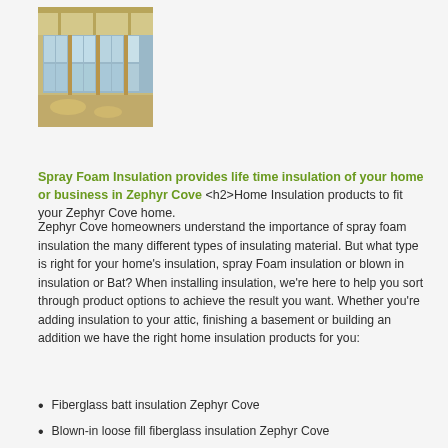[Figure (photo): Interior photo of a sunroom or enclosed porch with large windows and wooden framing, sunlight coming through]
Spray Foam Insulation provides life time insulation of your home or business in Zephyr Cove <h2>Home Insulation products to fit your Zephyr Cove home.
Zephyr Cove homeowners understand the importance of spray foam insulation the many different types of insulating material. But what type is right for your home's insulation, spray Foam insulation or blown in insulation or Bat? When installing insulation, we're here to help you sort through product options to achieve the result you want. Whether you're adding insulation to your attic, finishing a basement or building an addition we have the right home insulation products for you:
Fiberglass batt insulation Zephyr Cove
Blown-in loose fill fiberglass insulation Zephyr Cove